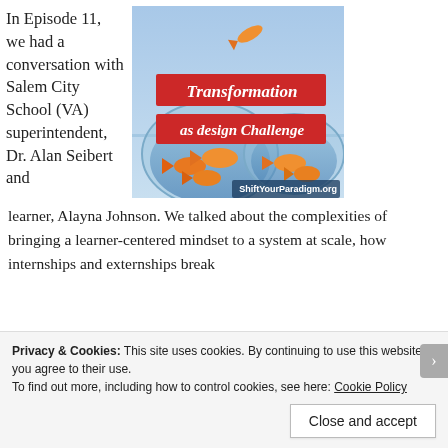In Episode 11, we had a conversation with Salem City School (VA) superintendent, Dr. Alan Seibert and learner, Alayna Johnson. We talked about the complexities of bringing a learner-centered mindset to a system at scale, how internships and externships break
[Figure (photo): Photo of two fishbowls with goldfish, one fish jumping from one bowl to the other. Text overlay reads 'Transformation as design Challenge'. Bottom right corner shows 'ShiftYourParadigm.org']
Privacy & Cookies: This site uses cookies. By continuing to use this website, you agree to their use.
To find out more, including how to control cookies, see here: Cookie Policy
Close and accept